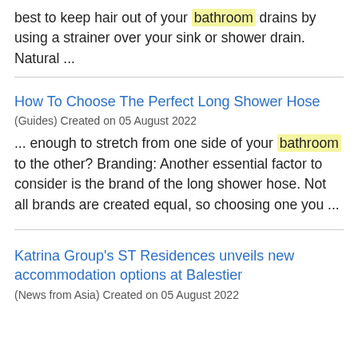best to keep hair out of your bathroom drains by using a strainer over your sink or shower drain. Natural ...
How To Choose The Perfect Long Shower Hose
(Guides) Created on 05 August 2022
... enough to stretch from one side of your bathroom to the other? Branding: Another essential factor to consider is the brand of the long shower hose. Not all brands are created equal, so choosing one you ...
Katrina Group's ST Residences unveils new accommodation options at Balestier
(News from Asia) Created on 05 August 2022